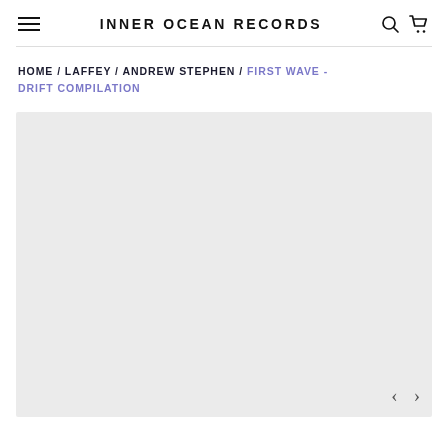INNER OCEAN RECORDS
HOME / LAFFEY / ANDREW STEPHEN / FIRST WAVE - DRIFT COMPILATION
[Figure (photo): Light grey product image placeholder area with navigation arrows (left and right chevrons) in bottom right corner]